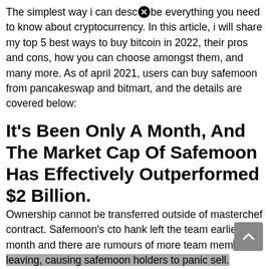The simplest way i can describe everything you need to know about cryptocurrency. In this article, i will share my top 5 best ways to buy bitcoin in 2022, their pros and cons, how you can choose amongst them, and many more. As of april 2021, users can buy safemoon from pancakeswap and bitmart, and the details are covered below:
It's Been Only A Month, And The Market Cap Of Safemoon Has Effectively Outperformed $2 Billion.
Ownership cannot be transferred outside of masterchef contract. Safemoon's cto hank left the team earlier this month and there are rumours of more team members leaving, causing safemoon holders to panic sell. Traders started to get interested, and the price soon reached